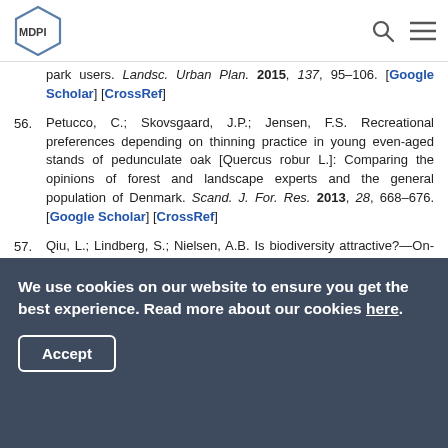MDPI
park users. Landsc. Urban Plan. 2015, 137, 95–106. [Google Scholar] [CrossRef]
56. Petucco, C.; Skovsgaard, J.P.; Jensen, F.S. Recreational preferences depending on thinning practice in young even-aged stands of pedunculate oak [Quercus robur L.]: Comparing the opinions of forest and landscape experts and the general population of Denmark. Scand. J. For. Res. 2013, 28, 668–676. [Google Scholar] [CrossRef]
57. Qiu, L.; Lindberg, S.; Nielsen, A.B. Is biodiversity attractive?—On-site perception of recreational and biodiversity values in urban green space. Landsc. Urban
We use cookies on our website to ensure you get the best experience. Read more about our cookies here. Accept